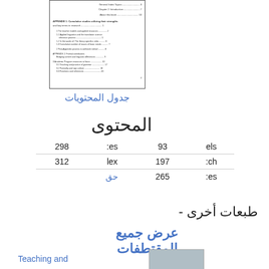[Figure (screenshot): Table of contents page thumbnail showing chapter listings with page numbers]
جدول المحتويات
المحتوى
| els | 93 | :es | 298 |
| rch | 197 | lex | 312 |
| :es | 265 | حق |  |
طبعات أخرى -
عرض جميع المقتطفات
Teaching and